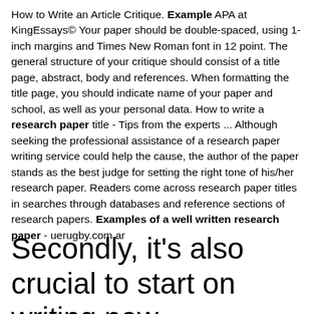How to Write an Article Critique. Example APA at KingEssays© Your paper should be double-spaced, using 1-inch margins and Times New Roman font in 12 point. The general structure of your critique should consist of a title page, abstract, body and references. When formatting the title page, you should indicate name of your paper and school, as well as your personal data. How to write a research paper title - Tips from the experts ... Although seeking the professional assistance of a research paper writing service could help the cause, the author of the paper stands as the best judge for setting the right tone of his/her research paper. Readers come across research paper titles in searches through databases and reference sections of research papers. Examples of a well written research paper - uerugby.com.ar
Secondly, it's also crucial to start on writing new